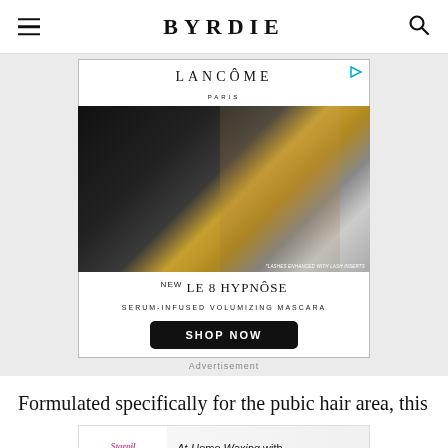BYRDIE
[Figure (other): Lancôme advertisement for NEW LE 8 HYPNÔSE SERUM-INFUSED VOLUMIZING MASCARA with SHOP NOW button. Shows a woman model with long braided hair and gold hoop earrings, wearing a backless black outfit, next to gold mascara wands against a dark background. Disclaimer: *LASHES ENHANCED WITH LASH INSERTS.]
Advertisement
Formulated specifically for the pubic hair area, this
[Figure (other): Starpil at-home waxing advertisement. Text: At-Home Waxing with Salon Results. Try it Now button in pink.]